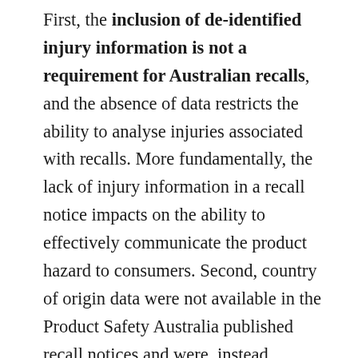First, the inclusion of de-identified injury information is not a requirement for Australian recalls, and the absence of data restricts the ability to analyse injuries associated with recalls. More fundamentally, the lack of injury information in a recall notice impacts on the ability to effectively communicate the product hazard to consumers. Second, country of origin data were not available in the Product Safety Australia published recall notices and were, instead, extracted from Australian recalls published on the OECD global recall portal. The reason for this irregularity is unclear, and the inclusion of country of origin data is valuable to identify leading source countries for recalled products, which can then inform cross-border safety